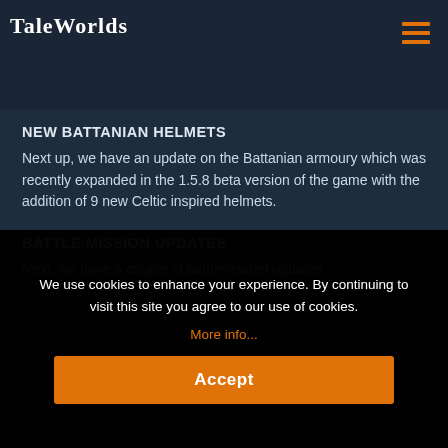TaleWorlds
devastate settlements upon capturing them, netting them to gold and morale in exchange for damages to the settlement and its inhabitants.
NEW BATTANIAN HELMETS
Next up, we have an update on the Battanian armoury which was recently expanded in the 1.5.8 beta version of the game with the addition of 9 new Celtic inspired helmets.
BATTLE MISSION UPDATES
Next, we have a couple of battle-related updates.
We use cookies to enhance your experience. By continuing to visit this site you agree to our use of cookies.
More info...
Accept